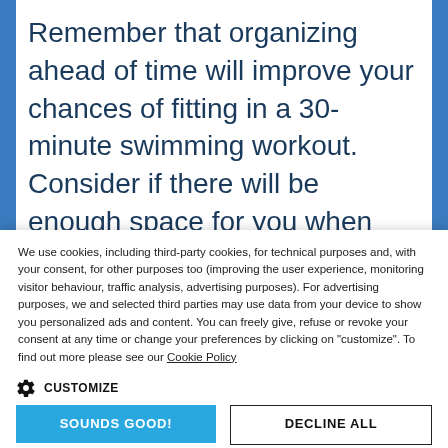Remember that organizing ahead of time will improve your chances of fitting in a 30-minute swimming workout. Consider if there will be enough space for you when you get to the pool. If you feel you may get in the way, talk to your fellow swimmers or stake out the best lane for your
We use cookies, including third-party cookies, for technical purposes and, with your consent, for other purposes too (improving the user experience, monitoring visitor behaviour, traffic analysis, advertising purposes). For advertising purposes, we and selected third parties may use data from your device to show you personalized ads and content. You can freely give, refuse or revoke your consent at any time or change your preferences by clicking on "customize". To find out more please see our Cookie Policy
CUSTOMIZE
SOUNDS GOOD!
DECLINE ALL